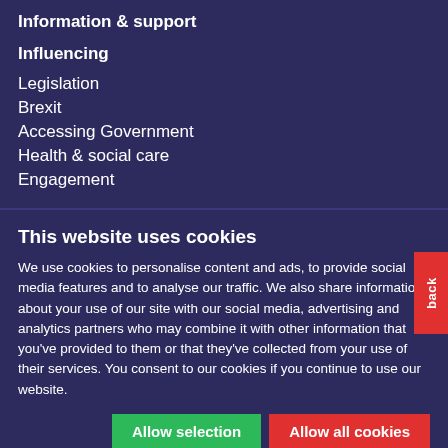Information & support
Influencing
Legislation
Brexit
Accessing Government
Health & social care
Engagement
This website uses cookies
We use cookies to personalise content and ads, to provide social media features and to analyse our traffic. We also share information about your use of our site with our social media, advertising and analytics partners who may combine it with other information that you've provided to them or that they've collected from your use of their services. You consent to our cookies if you continue to use our website.
Allow selection | Allow all cookies
Necessary | Preferences | Statistics | Marketing | Show details